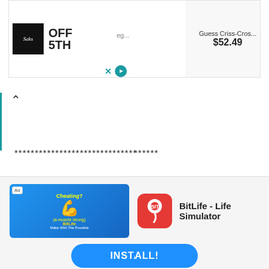[Figure (screenshot): Top advertisement banner for Saks OFF 5TH showing a high-heel shoe and 'Guess Criss-Cros... $52.49']
***********************************
Best Picture Editor
Rogers Ofime – Voiceless
[Figure (screenshot): Bottom advertisement for BitLife - Life Simulator app with INSTALL! button]